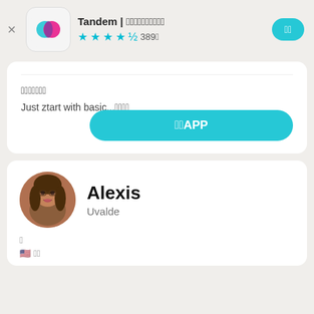Tandem | 语言交流伙伴 ★★★★½ 389条
最近更新时间
Just ztart with basic...更多
打开APP
Alexis
Uvalde
🇺🇸 英语